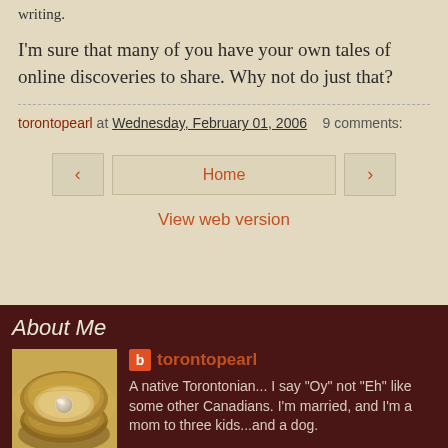writing.
I'm sure that many of you have your own tales of online discoveries to share. Why not do just that?
torontopearl at Wednesday, February 01, 2006   9 comments:
‹   Home   ›
View web version
About Me
[Figure (photo): Photo of an oyster shell with a pearl inside on a golden surface]
torontopearl
A native Torontonian... I say "Oy" not "Eh" like some other Canadians. I'm married, and I'm a mom to three kids...and a dog.
View my complete profile
Powered by Blogger.